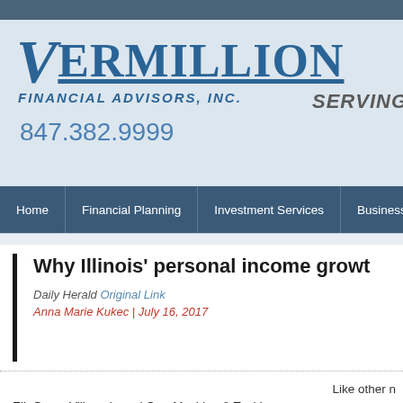Vermillion Financial Advisors, Inc. | 847.382.9999 | SERVING
[Figure (logo): Vermillion Financial Advisors, Inc. logo with stylized V, phone number 847.382.9999, and SERVING text]
Home
Financial Planning
Investment Services
Business Services
Why Illinois' personal income growt
Daily Herald Original Link
Anna Marie Kukec | July 16, 2017
Like other n
Elk Grove Village-based Carr Machine & Tool Inc.